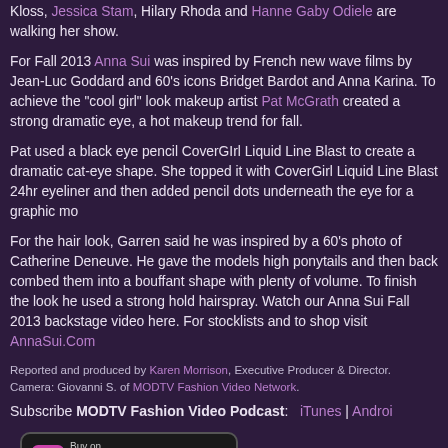Anna has some of the world's top models at her show and this season Karlie Kloss, Jessica Stam, Hilary Rhoda and Hanne Gaby Odiele are walking her show.
For Fall 2013 Anna Sui was inspired by French new wave films by Jean-Luc Goddard and 60's icons Bridget Bardot and Anna Karina. To achieve the cool girl look makeup artist Pat McGrath created a strong dramatic eye, a hot makeup trend for fall.
Pat used a black eye pencil CoverGIrl Liquid Line Blast to create a dramatic cat-eye shape. She topped it with CoverGirl Liquid Line Blast 24hr eyeliner and then added pencil dots underneath the eye for a graphic modern look.
For the hair look, Garren said he was inspired by a 60's photo of Catherine Deneuve. He gave the models high ponytails and then back combed them into a bouffant shape with plenty of volume. To finish the look he used a strong hold hairspray. Watch our Anna Sui Fall 2013 backstage video here. For stocklists and to shop visit AnnaSui.Com
Reported and produced by Karen Morrison, Executive Producer & Director. Camera: Giovanni S. of MODTV Fashion Video Network.
Subscribe MODTV Fashion Video Podcast: iTunes | Android
[Figure (logo): iTunes Store buy button badge with pink star icon]